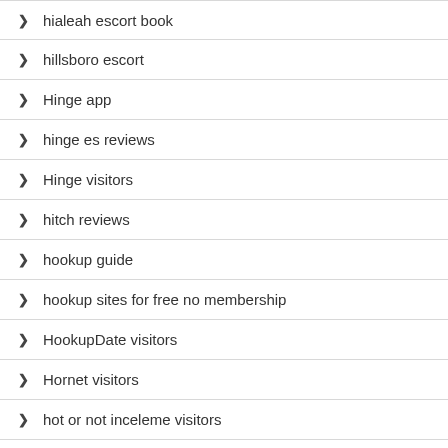hialeah escort book
hillsboro escort
Hinge app
hinge es reviews
Hinge visitors
hitch reviews
hookup guide
hookup sites for free no membership
HookupDate visitors
Hornet visitors
hot or not inceleme visitors